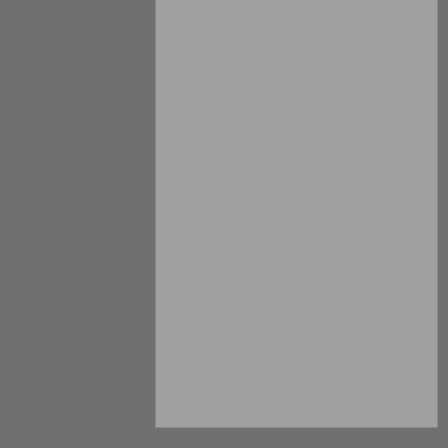{
    type = "projectile",
    projectile = "anti-material-rifle-ammo-3",
    starting_speed = 3,
    direction_deviation = 0.02,
    range_deviation = 0.02,
    max_range = 50,
    source_effects = {
    {
    type = "create-explosion",
    entity_name = "explosion-gunshot",
    },
    },
    },
    },
    force = "not-same",
    },
    },
Please, use code markup! This way, it's much easier to read because indention will not be removed: